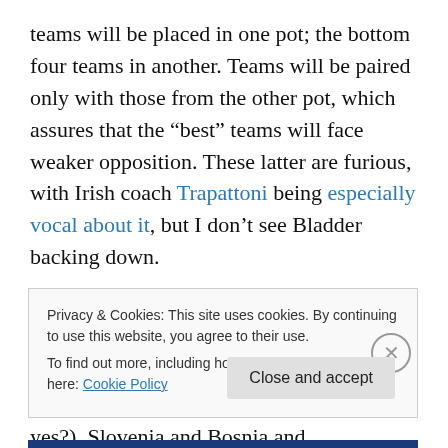teams will be placed in one pot; the bottom four teams in another. Teams will be paired only with those from the other pot, which assures that the “best” teams will face weaker opposition. These latter are furious, with Irish coach Trapattoni being especially vocal about it, but I don’t see Bladder backing down.
Almost assuredly, the high pot will consist of Russia, France, Portugal and Greece and the dregs with Ukraine, Ireland (I think we can dispense with this Republic business, yes?), Slovenia and Bosnia and Herzegovina.
Privacy & Cookies: This site uses cookies. By continuing to use this website, you agree to their use.
To find out more, including how to control cookies, see here: Cookie Policy